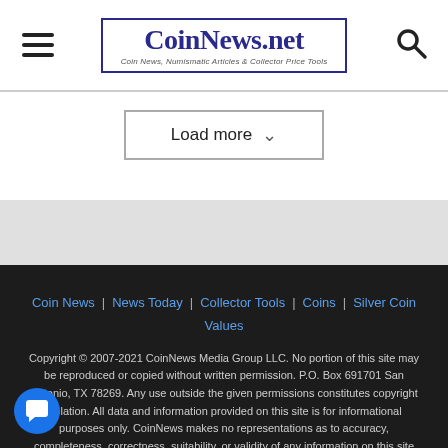CoinNews.net — Coin News, Numismatic Articles & Collector Price Tools
Load more
Coin News | News Today | Collector Tools | Coins | Silver Coin Values
Copyright © 2007-2021 CoinNews Media Group LLC. No portion of this site may be reproduced or copied without written permission. P.O. Box 691701 San Antonio, TX 78269. Any use outside the given permissions constitutes copyright violation. All data and information provided on this site is for informational purposes only. CoinNews makes no representations as to accuracy, completeness, correctness, suitability, or validity of any information on this site and will not be liable for any